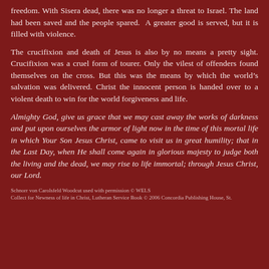freedom. With Sisera dead, there was no longer a threat to Israel. The land had been saved and the people spared. A greater good is served, but it is filled with violence.
The crucifixion and death of Jesus is also by no means a pretty sight. Crucifixion was a cruel form of tourer. Only the vilest of offenders found themselves on the cross. But this was the means by which the world's salvation was delivered. Christ the innocent person is handed over to a violent death to win for the world forgiveness and life.
Almighty God, give us grace that we may cast away the works of darkness and put upon ourselves the armor of light now in the time of this mortal life in which Your Son Jesus Christ, came to visit us in great humility; that in the Last Day, when He shall come again in glorious majesty to judge both the living and the dead, we may rise to life immortal; through Jesus Christ, our Lord.
Schnorr von Carolsfeld Woodcut used with permission © WELS
Collect for Newness of life in Christ, Lutheran Service Book © 2006 Concordia Publishing House, St.